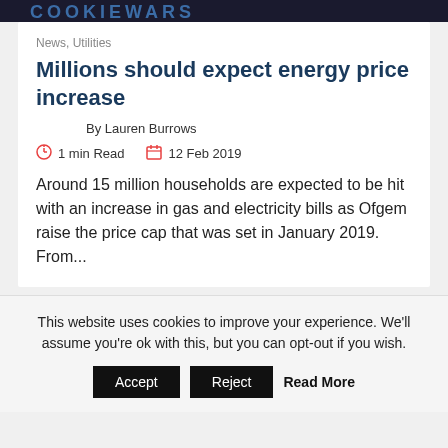COOKIEWARS
News, Utilities
Millions should expect energy price increase
By Lauren Burrows
1 min Read   12 Feb 2019
Around 15 million households are expected to be hit with an increase in gas and electricity bills as Ofgem raise the price cap that was set in January 2019. From...
This website uses cookies to improve your experience. We'll assume you're ok with this, but you can opt-out if you wish.
Accept   Reject   Read More